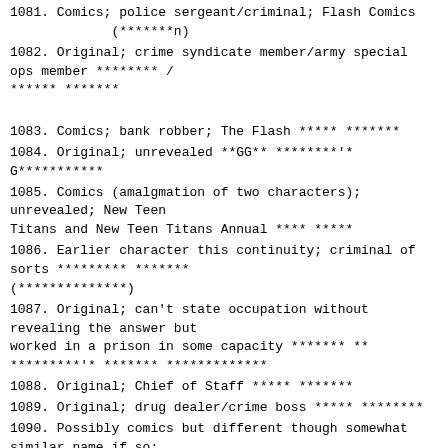1081. Comics; police sergeant/criminal; Flash Comics (*******n)
1082. Original; crime syndicate member/army special ops member ******** / ****** *******
1083. Comics; bank robber; The Flash ***** *******
1084. Original; unrevealed **GG** ********'* G***********
1085. Comics (amalgmation of two characters); unrevealed; New Teen Titans and New Teen Titans Annual **** *****
1086. Earlier character this continuity; criminal of sorts ********* ******* (**************)
1087. Original; can't state occupation without revealing the answer but worked in a prison in some capacity ******* ** *********'* ******* *************
1088. Original; Chief of Staff ***** *******
1089. Original; drug dealer/crime boss ***** ********
1090. Possibly comics but different though somewhat similar name if so; judge;  possibly More Fun Comics ***G* ********
1091. Comics; unrevealed; Action Comics ********* # (******-***##)
1092. Original; scientist **** *'*******
1093. Comics; princess; Captain Atom **** *********
1094. Real person; Prohibition agent ***** ****
1095. Original; some sort of bearer (being specific would reveal answer) ***** ***** ***** *******
1096. Comics; crime godfather; Outsiders ******** G**G**
1097. Comics (somewhat, with different name); village guardian; Justice League of America ***
1098. Comics; pet; Action Comics ********
1099. Original; student ****
1100. Original; scientist **. ******** ****
1101. Comics; welder; All-Star Squadron ** ********** (******-#)